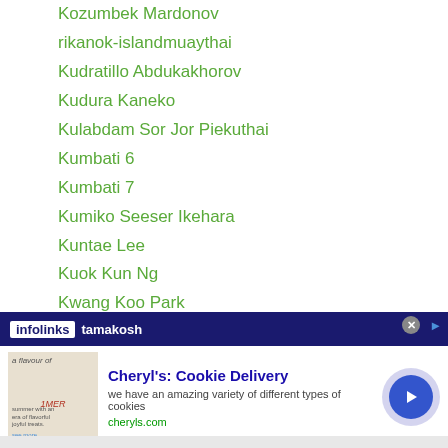Kozumbek Mardonov
rikanok-islandmuaythai
Kudratillo Abdukakhorov
Kudura Kaneko
Kulabdam Sor Jor Piekuthai
Kumbati 6
Kumbati 7
Kumiko Seeser Ikehara
Kuntae Lee
Kuok Kun Ng
Kwang Koo Park
Kwanpichit Onesongchaigym
Kwanthai Sithmorseng
Kyoei
Kyohei Hosono
tamakosh
[Figure (other): Advertisement banner for Cheryl's Cookie Delivery with infolinks bar]